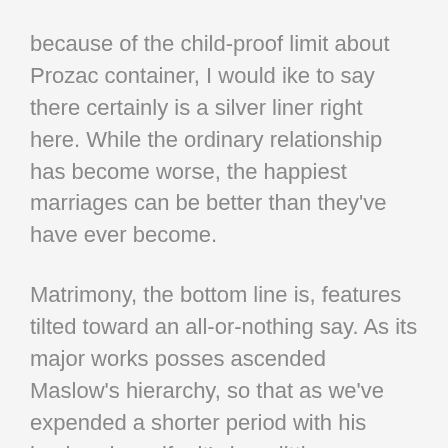because of the child-proof limit about Prozac container, I would ike to say there certainly is a silver liner right here. While the ordinary relationship has become worse, the happiest marriages can be better than they've have ever become.
Matrimony, the bottom line is, features tilted toward an all-or-nothing say. As its major works posses ascended Maslow's hierarchy, so that as we've expended a shorter period with his husband or wife, it's be a little more difficult for our very own relationship to call home around our personal desires, meaning that more of us wind-up feel dissatisfied. In addition, as the character in our marital goals changed, the main